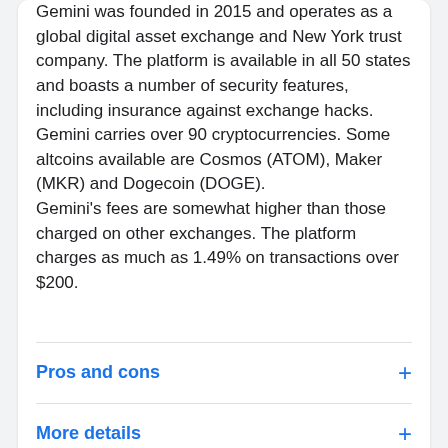Gemini was founded in 2015 and operates as a global digital asset exchange and New York trust company. The platform is available in all 50 states and boasts a number of security features, including insurance against exchange hacks. Gemini carries over 90 cryptocurrencies. Some altcoins available are Cosmos (ATOM), Maker (MKR) and Dogecoin (DOGE). Gemini's fees are somewhat higher than those charged on other exchanges. The platform charges as much as 1.49% on transactions over $200.
Pros and cons
More details